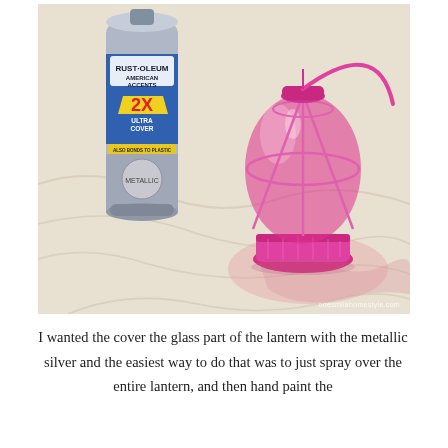[Figure (photo): A Rust-Oleum American Accents 2X Ultra Cover metallic silver spray paint can on the left, and a bright pink glass lantern on the right, both placed on a crinkled cream/white fabric or drop cloth.]
I wanted the cover the glass part of the lantern with the metallic silver and the easiest way to do that was to just spray over the entire lantern, and then hand paint the